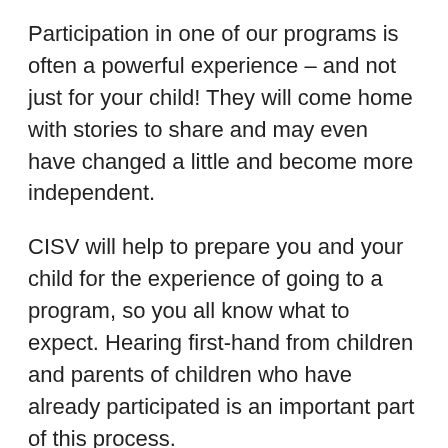Participation in one of our programs is often a powerful experience – and not just for your child! They will come home with stories to share and may even have changed a little and become more independent.
CISV will help to prepare you and your child for the experience of going to a program, so you all know what to expect. Hearing first-hand from children and parents of children who have already participated is an important part of this process.
Inter-cultural experience is enriching for all of your family.  If your child is going to be part of an Interchange exchange, your family will all get to take part in the experience as part of the two-